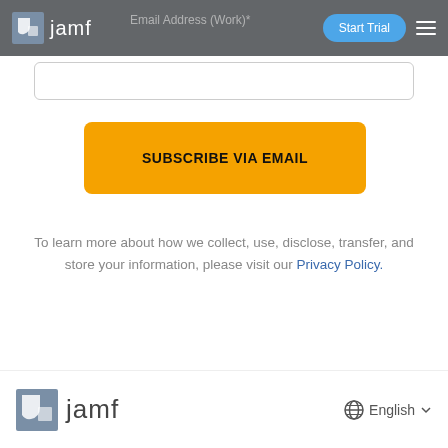jamf | Email Address (World) | Start Trial
[Figure (screenshot): Email address input field (white rectangle with grey border)]
SUBSCRIBE VIA EMAIL
To learn more about how we collect, use, disclose, transfer, and store your information, please visit our Privacy Policy.
jamf | English (globe icon with dropdown)